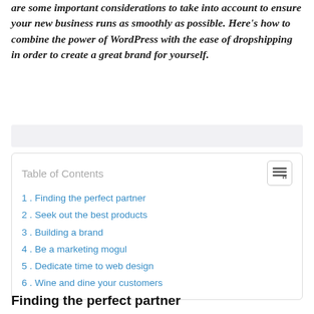are some important considerations to take into account to ensure your new business runs as smoothly as possible. Here’s how to combine the power of WordPress with the ease of dropshipping in order to create a great brand for yourself.
| Table of Contents |
| --- |
| 1. Finding the perfect partner |
| 2. Seek out the best products |
| 3. Building a brand |
| 4. Be a marketing mogul |
| 5. Dedicate time to web design |
| 6. Wine and dine your customers |
Finding the perfect partner